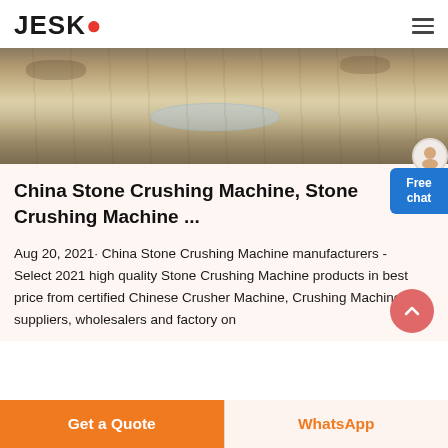JESCO
[Figure (photo): Aerial/ground-level photo of a stone crushing or quarry site with muddy water puddles and earth tones]
China Stone Crushing Machine, Stone Crushing Machine ...
Aug 20, 2021· China Stone Crushing Machine manufacturers - Select 2021 high quality Stone Crushing Machine products in best price from certified Chinese Crusher Machine, Crushing Machine suppliers, wholesalers and factory on
Get a Quote | WhatsApp